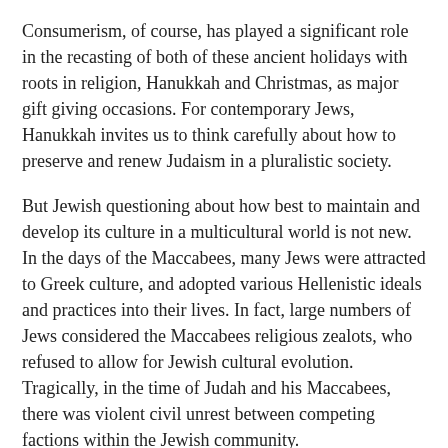Consumerism, of course, has played a significant role in the recasting of both of these ancient holidays with roots in religion, Hanukkah and Christmas, as major gift giving occasions. For contemporary Jews, Hanukkah invites us to think carefully about how to preserve and renew Judaism in a pluralistic society.
But Jewish questioning about how best to maintain and develop its culture in a multicultural world is not new. In the days of the Maccabees, many Jews were attracted to Greek culture, and adopted various Hellenistic ideals and practices into their lives. In fact, large numbers of Jews considered the Maccabees religious zealots, who refused to allow for Jewish cultural evolution. Tragically, in the time of Judah and his Maccabees, there was violent civil unrest between competing factions within the Jewish community.
Today, we continue to wrestle with complex questions of Jewish continuity and innovation, and our relationship to larger cultural influences. What must we preserve? How much change